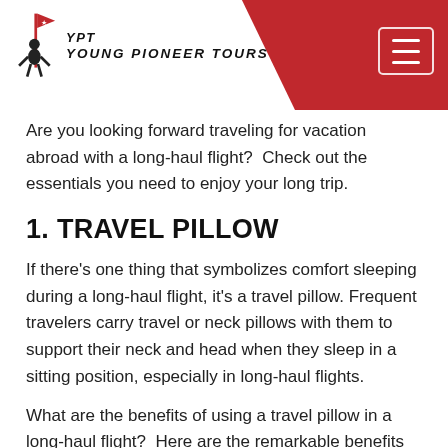Young Pioneer Tours
Are you looking forward traveling for vacation abroad with a long-haul flight?  Check out the essentials you need to enjoy your long trip.
1. TRAVEL PILLOW
If there’s one thing that symbolizes comfort sleeping during a long-haul flight, it’s a travel pillow. Frequent travelers carry travel or neck pillows with them to support their neck and head when they sleep in a sitting position, especially in long-haul flights.
What are the benefits of using a travel pillow in a long-haul flight?  Here are the remarkable benefits of travel pillows:Promote Utmost Travel Comfort: A travel pillow